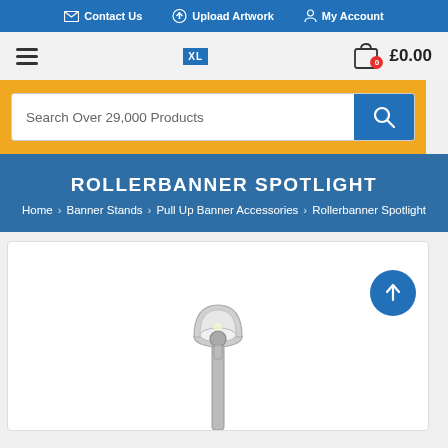Contact Us  Upload Artwork  My Account
£0.00
Search Over 29,000 Products
ROLLERBANNER SPOTLIGHT
Home > Banner Stands > Pull Up Banner Accessories > Rollerbanner Spotlight
[Figure (photo): Rollerbanner Spotlight product photo showing a chrome/silver spotlight fixture on a pole stand, partially visible from below]